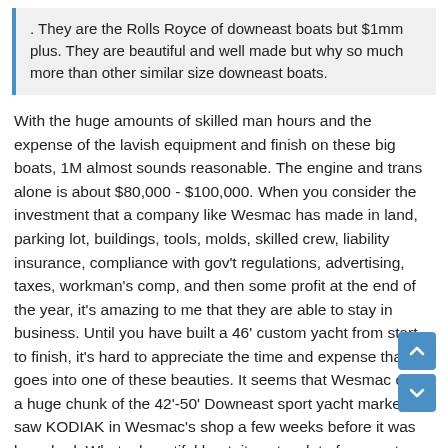. They are the Rolls Royce of downeast boats but $1mm plus. They are beautiful and well made but why so much more than other similar size downeast boats.
With the huge amounts of skilled man hours and the expense of the lavish equipment and finish on these big boats, 1M almost sounds reasonable. The engine and trans alone is about $80,000 - $100,000. When you consider the investment that a company like Wesmac has made in land, parking lot, buildings, tools, molds, skilled crew, liability insurance, compliance with gov't regulations, advertising, taxes, workman's comp, and then some profit at the end of the year, it's amazing to me that they are able to stay in business. Until you have built a 46' custom yacht from start to finish, it's hard to appreciate the time and expense that goes into one of these beauties. It seems that Wesmac owns a huge chunk of the 42'-50' Downeast sport yacht market. I saw KODIAK in Wesmac's shop a few weeks before it was launched. What a beautiful boat, it costs a lot of money to have the biggest and the best. But Wesmac delivers the